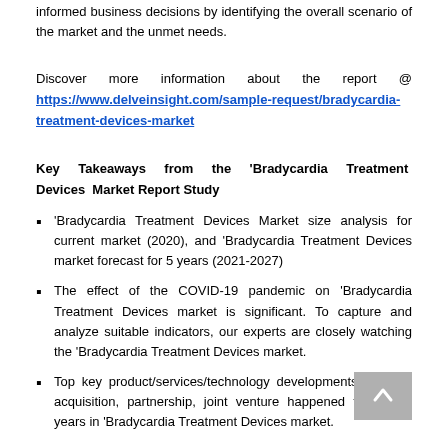informed business decisions by identifying the overall scenario of the market and the unmet needs.
Discover more information about the report @ https://www.delveinsight.com/sample-request/bradycardia-treatment-devices-market
Key Takeaways from the 'Bradycardia Treatment Devices Market Report Study
'Bradycardia Treatment Devices Market size analysis for current market (2020), and 'Bradycardia Treatment Devices market forecast for 5 years (2021-2027)
The effect of the COVID-19 pandemic on 'Bradycardia Treatment Devices market is significant. To capture and analyze suitable indicators, our experts are closely watching the 'Bradycardia Treatment Devices market.
Top key product/services/technology developments, merger, acquisition, partnership, joint venture happened for last 3 years in 'Bradycardia Treatment Devices market.